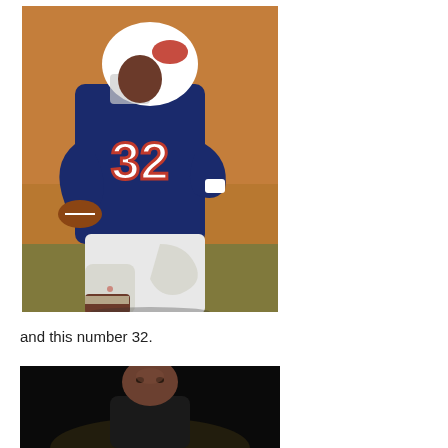[Figure (photo): A football player wearing a navy blue Buffalo Bills jersey with number 32, white pants, and a white helmet with a red buffalo logo, running with the football during a game.]
and this number 32.
[Figure (photo): A person photographed against a dark/black background, partially visible from the torso up.]